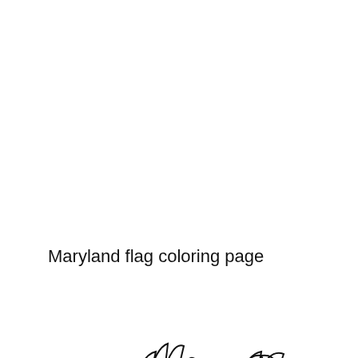Maryland flag coloring page
[Figure (illustration): Line art illustration of two anime-style characters (a boy and a girl) shown from the shoulders up. The boy is on the left with short spiky hair, and the girl is on the right with long hair and a large bow on top. Both have large expressive eyes typical of anime style. The artwork is uncolored black and white line drawing.]